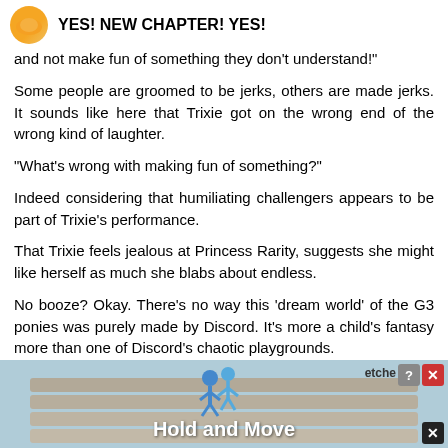YES! NEW CHAPTER! YES!
and not make fun of something they don't understand!"
Some people are groomed to be jerks, others are made jerks. It sounds like here that Trixie got on the wrong end of the wrong kind of laughter.
“What’s wrong with making fun of something?”
Indeed considering that humiliating challengers appears to be part of Trixie’s performance.
That Trixie feels jealous at Princess Rarity, suggests she might like herself as much she blabs about endless.
No booze? Okay. There’s no way this ‘dream world’ of the G3 ponies was purely made by Discord. It’s more a child’s fantasy more than one of Discord’s chaotic playgrounds.
After the fiasco last time, she wasn’t stupid enough to
[Figure (screenshot): Advertisement banner at bottom of page showing a game ad with figures and text 'Hold and Move', with close buttons and 'etched' branding in top right corner.]